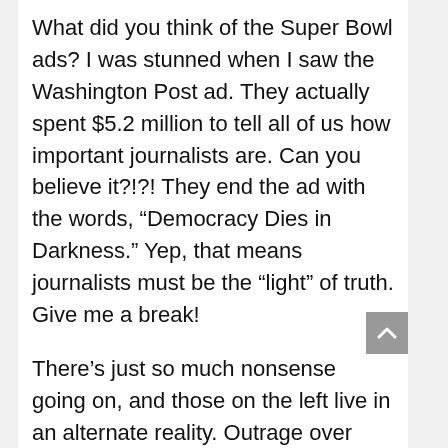What did you think of the Super Bowl ads? I was stunned when I saw the Washington Post ad. They actually spent $5.2 million to tell all of us how important journalists are. Can you believe it?!?! They end the ad with the words, “Democracy Dies in Darkness.” Yep, that means journalists must be the “light” of truth. Give me a break!
There’s just so much nonsense going on, and those on the left live in an alternate reality. Outrage over blackface, but no outrage for abortion after birth. Wow! And we should be thanking our lucky